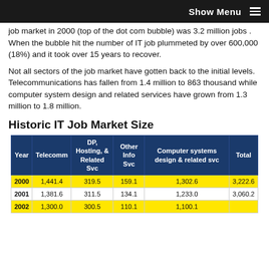Show Menu
job market in 2000 (top of the dot com bubble) was 3.2 million jobs . When the bubble hit the number of IT job plummeted by over 600,000 (18%) and it took over 15 years to recover.
Not all sectors of the job market have gotten back to the initial levels. Telecommunications has fallen from 1.4 million to 863 thousand while computer system design and related services have grown from 1.3 million to 1.8 million.
Historic IT Job Market Size
| Year | Telecomm | DP, Hosting, & Related Svc | Other Info Svc | Computer systems design & related svc | Total |
| --- | --- | --- | --- | --- | --- |
| 2000 | 1,441.4 | 319.5 | 159.1 | 1,302.6 | 3,222.6 |
| 2001 | 1,381.6 | 311.5 | 134.1 | 1,233.0 | 3,060.2 |
| 2002 | 1,300.0 | 300.5 | 110.1 | 1,100.1 |  |